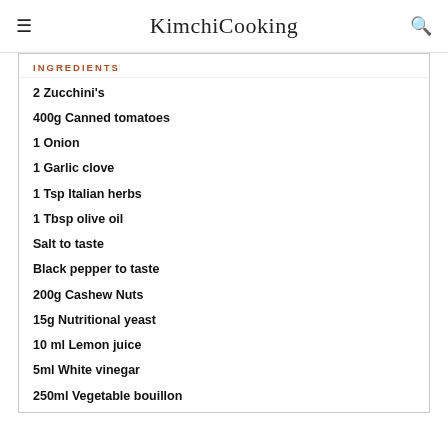KimchiCooking
INGREDIENTS
2 Zucchini's
400g Canned tomatoes
1 Onion
1 Garlic clove
1 Tsp Italian herbs
1 Tbsp olive oil
Salt to taste
Black pepper to taste
200g Cashew Nuts
15g Nutritional yeast
10 ml Lemon juice
5ml White vinegar
250ml Vegetable bouillon